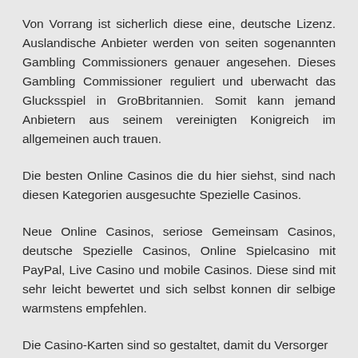Von Vorrang ist sicherlich diese eine, deutsche Lizenz. Auslandische Anbieter werden von seiten sogenannten Gambling Commissioners genauer angesehen. Dieses Gambling Commissioner reguliert und uberwacht das Glucksspiel in GroBbritannien. Somit kann jemand Anbietern aus seinem vereinigten Konigreich im allgemeinen auch trauen.
Die besten Online Casinos die du hier siehst, sind nach diesen Kategorien ausgesuchte Spezielle Casinos.
Neue Online Casinos, seriose Gemeinsam Casinos, deutsche Spezielle Casinos, Online Spielcasino mit PayPal, Live Casino und mobile Casinos. Diese sind mit sehr leicht bewertet und sich selbst konnen dir selbige warmstens empfehlen.
Die Casino-Karten sind so gestaltet, damit du Versorger auswahlst und finanzieren das Online Casino auch.